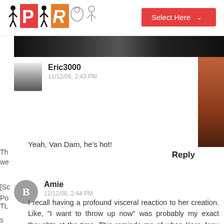[Figure (logo): PR website logo with human figures and colored letter blocks P and R]
[Figure (other): Select Here dropdown button in red]
[Figure (photo): Dark photo strip at top of content area]
Eric3000
11/12/06, 2:43 PM
Yeah, Van Dam, he's hot!
Reply
Amie
11/12/06, 2:44 PM
I recall having a profound visceral reaction to her creation. Like, "I want to throw up now" was probably my exact thoughts at the time. This reminds me of when Kara Janx did that "No Trespassing" dress. The literal translation of something does not